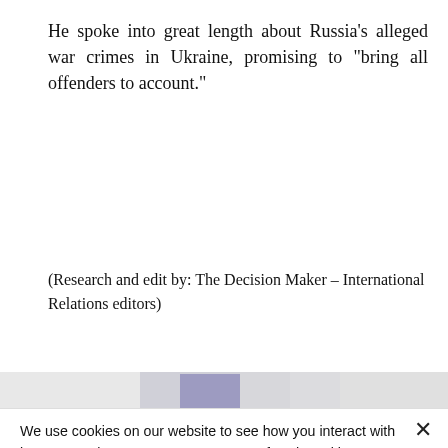He spoke into great length about Russia's alleged war crimes in Ukraine, promising to "bring all offenders to account."
(Research and edit by: The Decision Maker – International Relations editors)
[Figure (other): Blurred/obscured image strip partially visible behind cookie consent banner]
We use cookies on our website to see how you interact with it. By accepting, you agree to our use of such cookies. Privacy Policy
Decline All
Accept
Settings